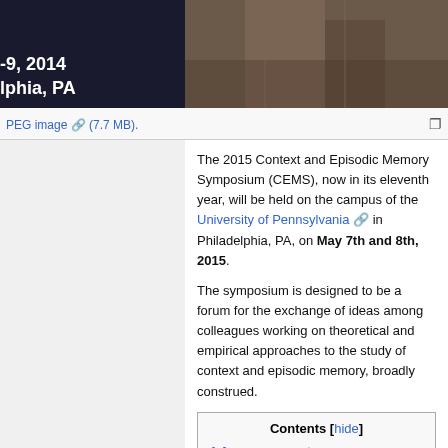[Figure (photo): Top banner image showing event date and location text '-9, 2014 / lphia, PA' on dark background left, and a photograph on the right side]
PEG image (7.7 MB).
The 2015 Context and Episodic Memory Symposium (CEMS), now in its eleventh year, will be held on the campus of the University of Pennsylvania in Philadelphia, PA, on May 7th and 8th, 2015.
The symposium is designed to be a forum for the exchange of ideas among colleagues working on theoretical and empirical approaches to the study of context and episodic memory, broadly construed.
| Contents |
| --- |
| 1 Announcements |
| 2 CONFERENCE REGISTRATION |